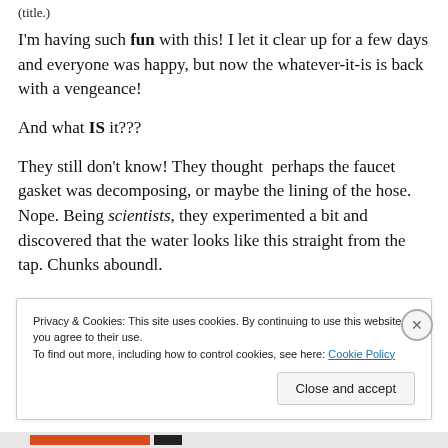(title.)
I'm having such fun with this!  I let it clear up for a few days and everyone was happy, but now the whatever-it-is is back with a vengeance!
And what IS it???
They still don't know!  They thought  perhaps the faucet gasket was decomposing, or maybe the lining of the hose.  Nope. Being scientists, they experimented a bit and discovered that the water looks like this straight from the tap.  Chunks aboundl.
Privacy & Cookies: This site uses cookies. By continuing to use this website, you agree to their use.
To find out more, including how to control cookies, see here: Cookie Policy
Close and accept